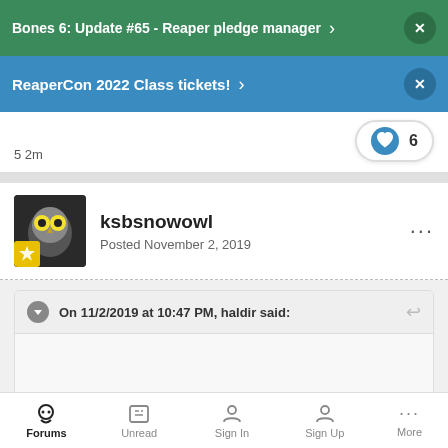Bones 6: Update #65 - Reaper pledge manager
ReaperCon 2022 Class tickets!
6
ksbsnowowl
Posted November 2, 2019
On 11/2/2019 at 10:47 PM, haldir said:
I think most of the current line up is in Bones material
Forums  Unread  Sign In  Sign Up  More